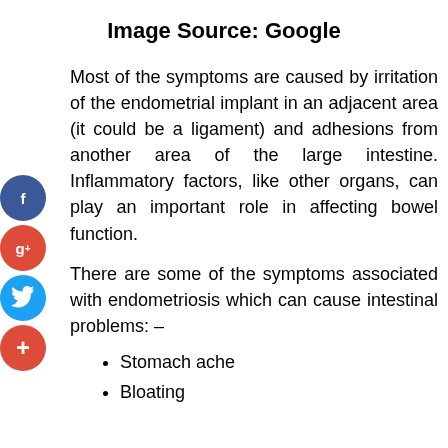Image Source: Google
Most of the symptoms are caused by irritation of the endometrial implant in an adjacent area (it could be a ligament) and adhesions from another area of the large intestine. Inflammatory factors, like other organs, can play an important role in affecting bowel function.
There are some of the symptoms associated with endometriosis which can cause intestinal problems: –
Stomach ache
Bloating